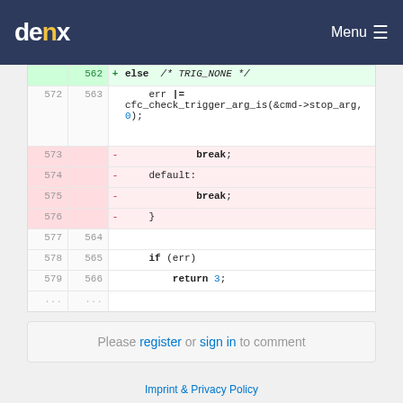denx Menu
[Figure (screenshot): Code diff viewer showing lines 562-579/563-566 with added (green) and removed (red) diff lines of C code including else, err, cfc_check_trigger_arg_is, break, default, if (err), return 3]
Please register or sign in to comment
Imprint & Privacy Policy